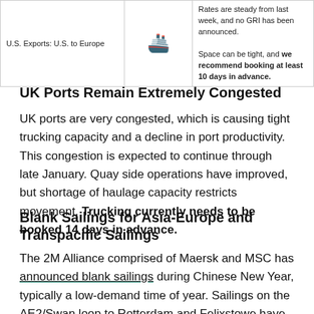|  |  |  |
| --- | --- | --- |
| U.S. Exports: U.S. to Europe | [ship icon] | Rates are steady from last week, and no GRI has been announced.
Space can be tight, and we recommend booking at least 10 days in advance. |
UK Ports Remain Extremely Congested
UK ports are very congested, which is causing tight trucking capacity and a decline in port productivity. This congestion is expected to continue through late January. Quay side operations have improved, but shortage of haulage capacity restricts movement. Trucking currently needs to be booked 14 days in advance.
Blank Sailings for Asia-Europe and Transpacific Sailings
The 2M Alliance comprised of Maersk and MSC has announced blank sailings during Chinese New Year, typically a low-demand time of year. Sailings on the AE2/Swan loop to Rotterdam and Felixstowe have been